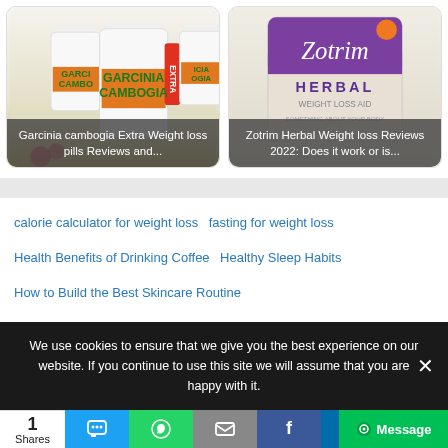[Figure (photo): Two product cards side by side. Left: Garcinia Cambogia Extra bottles. Right: Zotrim Herbal Weight Loss product box.]
Garcinia cambogia Extra Weight loss pills Reviews and...
Zotrim Herbal Weight loss Reviews 2022: Does it work or is...
calorie calculator for weight loss  fasting for weight loss
Health Benefits of Drinking Coffee  Healthy Sleep Habits
How to Build the Best Skincare Routine
We use cookies to ensure that we give you the best experience on our website. If you continue to use this site we will assume that you are happy with it.
1 Shares | share buttons: SMS, WhatsApp, Email, Facebook, Message